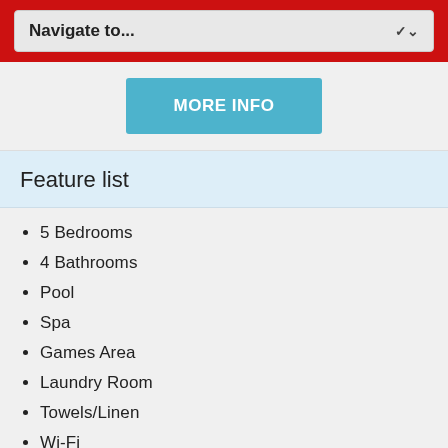Navigate to...
MORE INFO
Feature list
5 Bedrooms
4 Bathrooms
Pool
Spa
Games Area
Laundry Room
Towels/Linen
Wi-Fi
INQUIRE ONLINE